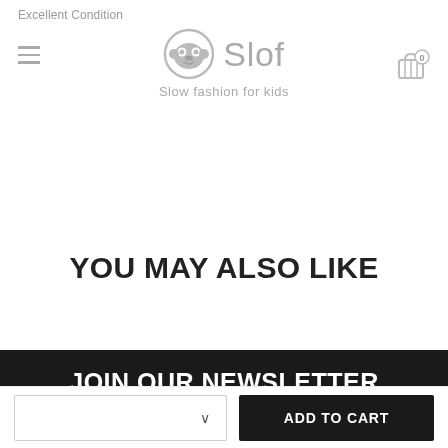Excellent Condition
[Figure (logo): Slof brand logo with sloth face icon and text 'Slof - Slow fashion for kids']
YOU MAY ALSO LIKE
JOIN OUR NEWSLETTER
Receive 15% off your first order
Your e-mail address
ADD TO CART